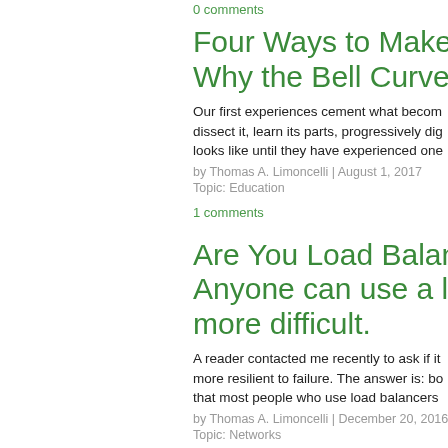0 comments
Four Ways to Make CS & Why the Bell Curve Hasn
Our first experiences cement what becom dissect it, learn its parts, progressively dig looks like until they have experienced one
by Thomas A. Limoncelli | August 1, 2017
Topic: Education
1 comments
Are You Load Balancing Anyone can use a load b more difficult.
A reader contacted me recently to ask if it more resilient to failure. The answer is: bo that most people who use load balancers
by Thomas A. Limoncelli | December 20, 2016
Topic: Networks
0 comments
10 Optimizations on Line The operations side of th
System administrators (DevOps engineer